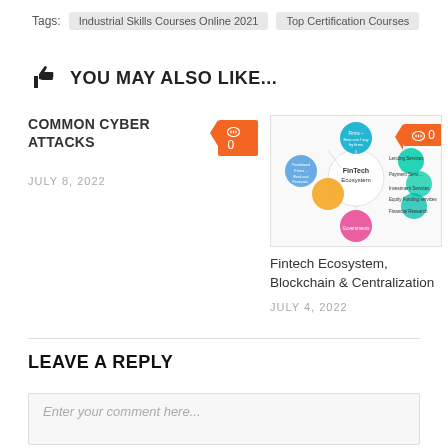Tags:  Industrial Skills Courses Online 2021  Top Certification Courses
YOU MAY ALSO LIKE...
COMMON CYBER ATTACKS
JULY 8, 2022
[Figure (illustration): FinTech Ecosystem diagram showing interconnected colored circles: Traditional Firms, Governments, Lending Services, Payment Services, Investment Services, Equity Funding Services, Financial Research]
Fintech Ecosystem, Blockchain & Centralization
JULY 4, 2022
LEAVE A REPLY
Enter your comment here...